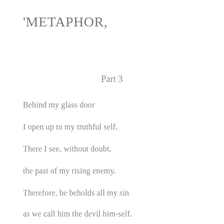'METAPHOR,
Part 3
Behind my glass door
I open up to my truthful self.
There I see, without doubt,
the past of my rising enemy.
Therefore, he beholds all my sin
as we call him the devil him-self.
I see how my rising enemy has torn,